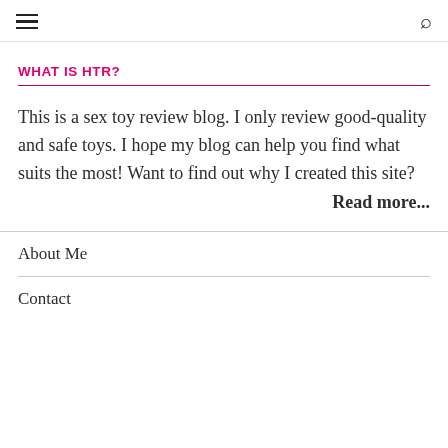≡  🔍
WHAT IS HTR?
This is a sex toy review blog. I only review good-quality and safe toys. I hope my blog can help you find what suits the most! Want to find out why I created this site?
Read more...
About Me
Contact